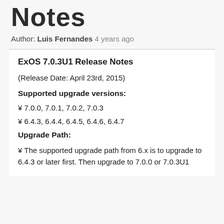Notes
Author: Luis Fernandes 4 years ago
ExOS 7.0.3U1 Release Notes
(Release Date: April 23rd, 2015)
Supported upgrade versions:
¥ 7.0.0, 7.0.1, 7.0.2, 7.0.3
¥ 6.4.3, 6.4.4, 6.4.5, 6.4.6, 6.4.7
Upgrade Path:
¥ The supported upgrade path from 6.x is to upgrade to 6.4.3 or later first. Then upgrade to 7.0.0 or 7.0.3U1